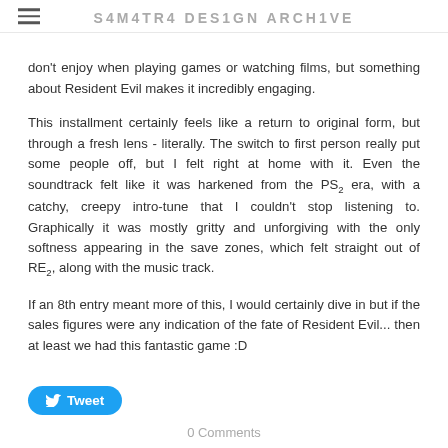SYMYTRY DESIGN ARCHIVE
don't enjoy when playing games or watching films, but something about Resident Evil makes it incredibly engaging.
This installment certainly feels like a return to original form, but through a fresh lens - literally.  The switch to first person really put some people off, but I felt right at home with it.  Even the soundtrack felt like it was harkened from the PS2 era, with a catchy, creepy intro-tune that I couldn't stop listening to.  Graphically it was mostly gritty and unforgiving with the only softness appearing in the save zones, which felt straight out of RE2, along with the music track.
If an 8th entry meant more of this, I would certainly dive in but if the sales figures were any indication of the fate of Resident Evil...  then at least we had this fantastic game :D
Tweet
0 Comments